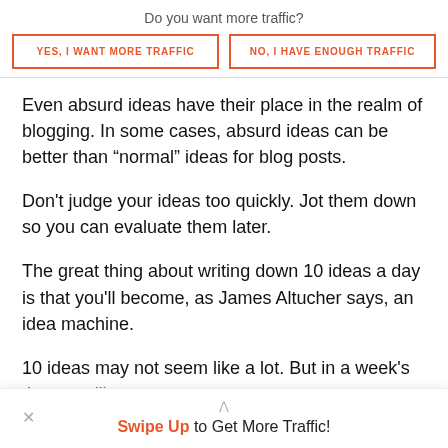Do you want more traffic?
YES, I WANT MORE TRAFFIC
NO, I HAVE ENOUGH TRAFFIC
Even absurd ideas have their place in the realm of blogging. In some cases, absurd ideas can be better than “normal” ideas for blog posts.
Don't judge your ideas too quickly. Jot them down so you can evaluate them later.
The great thing about writing down 10 ideas a day is that you'll become, as James Altucher says, an idea machine.
10 ideas may not seem like a lot. But in a week's time, you'll
Swipe Up to Get More Traffic!